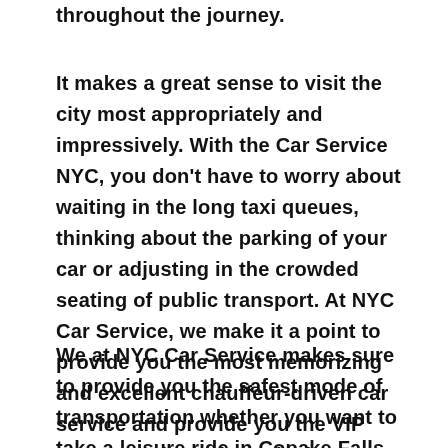throughout the journey.
It makes a great sense to visit the city most appropriately and impressively. With the Car Service NYC, you don't have to worry about waiting in the long taxi queues, thinking about the parking of your car or adjusting in the crowded seating of public transport. At NYC Car Service, we make it a point to provide you the most memorizing and excellent chauffeur-driven car service and provide you the VIP treatment throughout the journey.
We at NYC Car Service makes sure to provide you the safest mode of transportation whether you want to take a leisure ride in Copake Falls, NY, or wish to travel through New York City, Manhattan and Copake